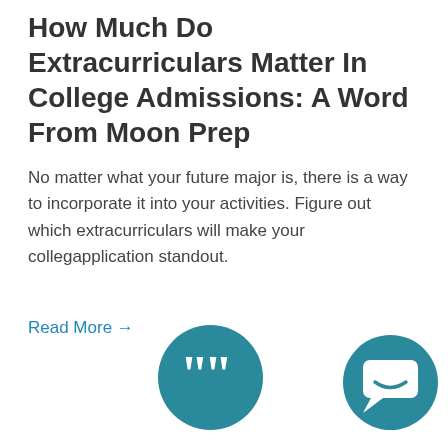How Much Do Extracurriculars Matter In College Admissions: A Word From Moon Prep
No matter what your future major is, there is a way to incorporate it into your activities. Figure out which extracurriculars will make your collegapplication standout.
Read More →
[Figure (illustration): Teal circle icon with open quotation marks (double left curly quotes) in white]
[Figure (illustration): Teal circle icon with a chat/message bubble symbol in white]